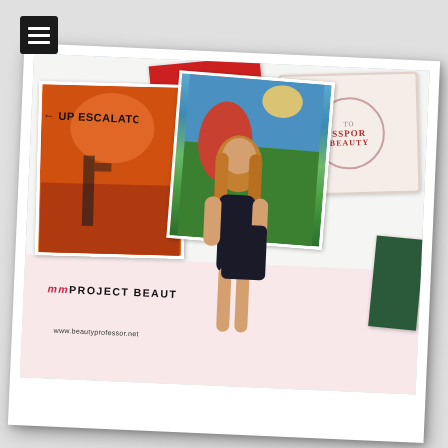[Figure (photo): A polaroid-style photograph showing a woman standing in front of trade show / event display banners. Visible text on banners includes 'UP ESCALATOR' with arrow, 'mmPROJECT BEAUTY', and 'www.beautyprofessor.net'. Background has travel-themed posters and a 'PASSPORT TO BEAUTY' stamp graphic and 'FRANCE' text. The woman is wearing a dark outfit and carrying a large dark tote bag. The image is slightly rotated as if a physical polaroid.]